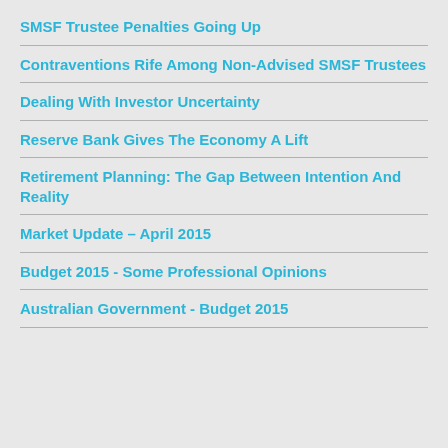SMSF Trustee Penalties Going Up
Contraventions Rife Among Non-Advised SMSF Trustees
Dealing With Investor Uncertainty
Reserve Bank Gives The Economy A Lift
Retirement Planning: The Gap Between Intention And Reality
Market Update – April 2015
Budget 2015 - Some Professional Opinions
Australian Government - Budget 2015